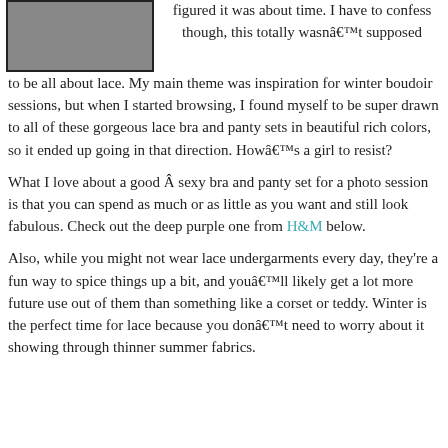[Figure (photo): Photo of a person, partially visible, upper body, wearing a gray top, cropped at top.]
figured it was about time. I have to confess though, this totally wasnât supposed to be all about lace. My main theme was inspiration for winter boudoir sessions, but when I started browsing, I found myself to be super drawn to all of these gorgeous lace bra and panty sets in beautiful rich colors, so it ended up going in that direction. Howâs a girl to resist?
What I love about a good Â sexy bra and panty set for a photo session is that you can spend as much or as little as you want and still look fabulous. Check out the deep purple one from H&M below.
Also, while you might not wear lace undergarments every day, they’re a fun way to spice things up a bit, and youâll likely get a lot more future use out of them than something like a corset or teddy. Winter is the perfect time for lace because you donât need to worry about it showing through thinner summer fabrics.